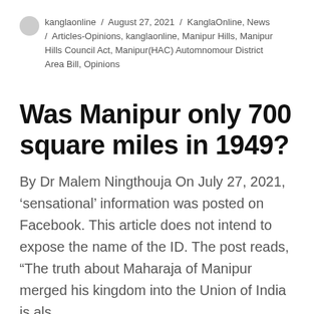kanglaonline / August 27, 2021 / KanglaOnline, News / Articles-Opinions, kanglaonline, Manipur Hills, Manipur Hills Council Act, Manipur(HAC) Automnomour District Area Bill, Opinions
Was Manipur only 700 square miles in 1949?
By Dr Malem Ningthouja On July 27, 2021, ‘sensational’ information was posted on Facebook. This article does not intend to expose the name of the ID. The post reads, “The truth about Maharaja of Manipur merged his kingdom into the Union of India is als…